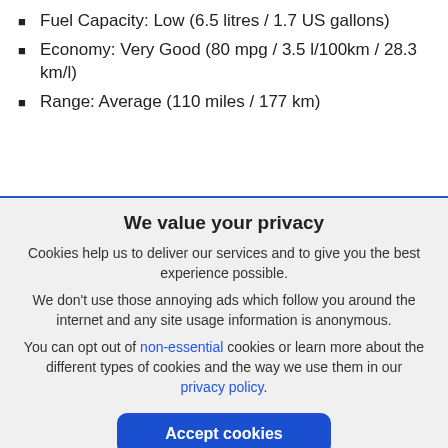Fuel Capacity: Low (6.5 litres / 1.7 US gallons)
Economy: Very Good (80 mpg / 3.5 l/100km / 28.3 km/l)
Range: Average (110 miles / 177 km)
We value your privacy
Cookies help us to deliver our services and to give you the best experience possible.
We don't use those annoying ads which follow you around the internet and any site usage information is anonymous.
You can opt out of non-essential cookies or learn more about the different types of cookies and the way we use them in our privacy policy.
Accept cookies